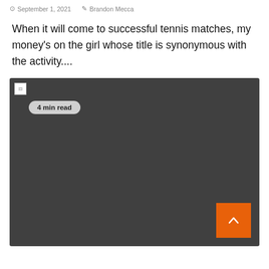September 1, 2021   Brandon Mecca
When it will come to successful tennis matches, my money's on the girl whose title is synonymous with the activity....
[Figure (photo): Dark gray placeholder image with a broken image icon in the top-left corner, a '4 min read' badge, and an orange back-to-top button in the bottom-right corner.]